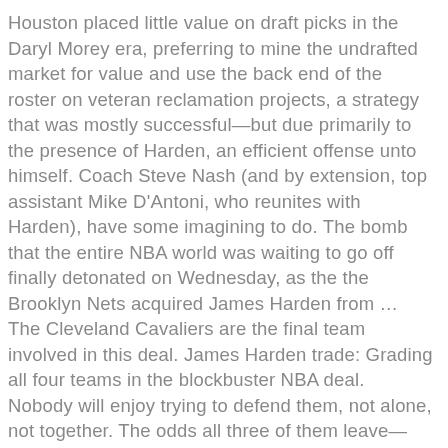Houston placed little value on draft picks in the Daryl Morey era, preferring to mine the undrafted market for value and use the back end of the roster on veteran reclamation projects, a strategy that was mostly successful—but due primarily to the presence of Harden, an efficient offense unto himself. Coach Steve Nash (and by extension, top assistant Mike D'Antoni, who reunites with Harden), have some imagining to do. The bomb that the entire NBA world was waiting to go off finally detonated on Wednesday, as the the Brooklyn Nets acquired James Harden from … The Cleveland Cavaliers are the final team involved in this deal. James Harden trade: Grading all four teams in the blockbuster NBA deal. Nobody will enjoy trying to defend them, not alone, not together. The odds all three of them leave—particularly in an attractive, player-friendly market—seem somewhat unlikely. Drummond's salary number is harder to move, but McGee could interest playoff teams on his cheaper expiring deal, and has played relatively well this season as a backup. The Nets should in theory get